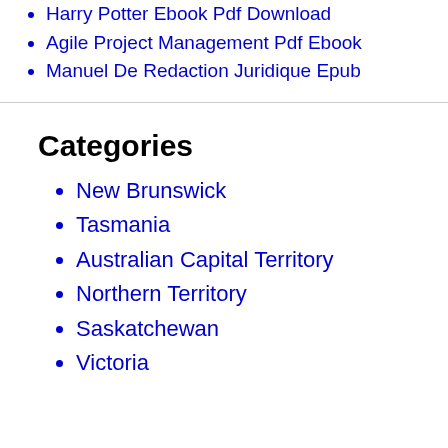Harry Potter Ebook Pdf Download
Agile Project Management Pdf Ebook
Manuel De Redaction Juridique Epub
Categories
New Brunswick
Tasmania
Australian Capital Territory
Northern Territory
Saskatchewan
Victoria